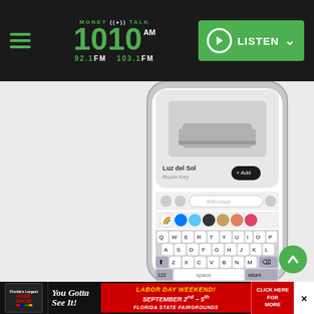Money Talk 1010 AM / 92.1 FM / 103.1 FM — LISTEN
[Figure (screenshot): iPhone screenshot showing iMessage app with a hotel room listing for Luz del Sol by Room Key, with keyboard visible showing QWERTY layout, iMessage input bar, and app icons row]
[Figure (other): Scroll-to-top green circular button with upward chevron arrow]
Ad banner: Florida's Largest Home Show — You Gotta See It! — LABOR DAY WEEKEND! SEPTEMBER 2nd–5th FLORIDA STATE FAIRGROUNDS — CLICK HERE FOR MORE — [X close]